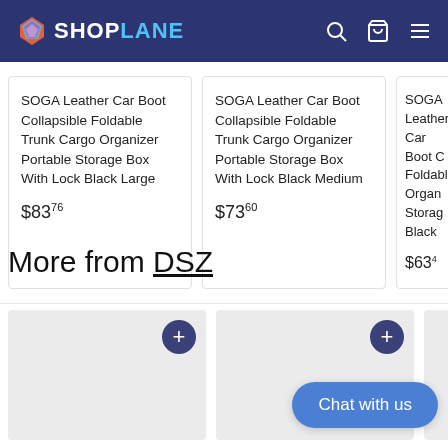[Figure (logo): Shoplane logo on dark blue navigation bar with search, cart, and menu icons]
SOGA Leather Car Boot Collapsible Foldable Trunk Cargo Organizer Portable Storage Box With Lock Black Large
$83.76
SOGA Leather Car Boot Collapsible Foldable Trunk Cargo Organizer Portable Storage Box With Lock Black Medium
$73.60
SOGA Leather Car Boot Collapsible Foldable Trunk Cargo Organizer Portable Storage Box With Lock Black [partial]
More from DSZ
[Figure (photo): Product card placeholder image with plus button, first DSZ item]
[Figure (photo): Product card placeholder image with plus button, second DSZ item]
Chat with us